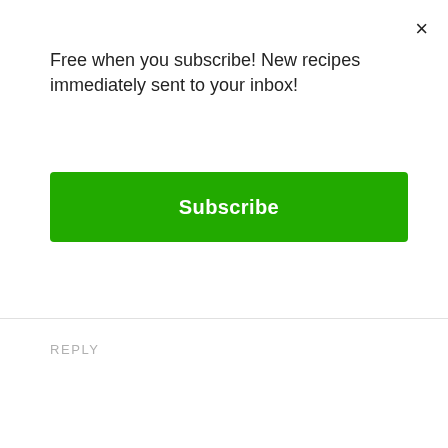×
Free when you subscribe! New recipes immediately sent to your inbox!
Subscribe
REPLY